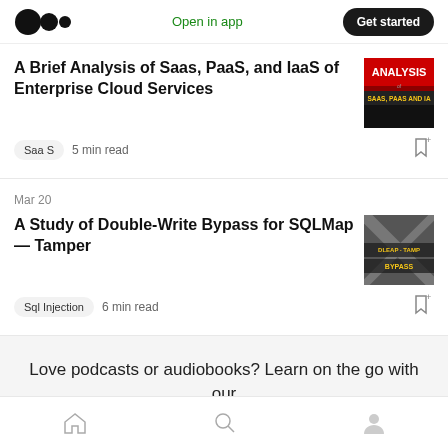Open in app | Get started
A Brief Analysis of Saas, PaaS, and IaaS of Enterprise Cloud Services
Saa S   5 min read
Mar 20
A Study of Double-Write Bypass for SQLMap — Tamper
Sql Injection   6 min read
Love podcasts or audiobooks? Learn on the go with our new app
Home | Search | Profile